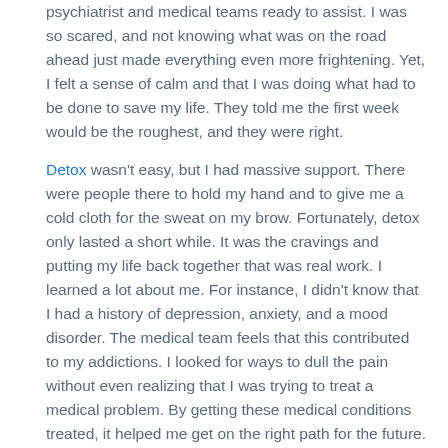psychiatrist and medical teams ready to assist. I was so scared, and not knowing what was on the road ahead just made everything even more frightening. Yet, I felt a sense of calm and that I was doing what had to be done to save my life. They told me the first week would be the roughest, and they were right.
Detox wasn't easy, but I had massive support. There were people there to hold my hand and to give me a cold cloth for the sweat on my brow. Fortunately, detox only lasted a short while. It was the cravings and putting my life back together that was real work. I learned a lot about me. For instance, I didn't know that I had a history of depression, anxiety, and a mood disorder. The medical team feels that this contributed to my addictions. I looked for ways to dull the pain without even realizing that I was trying to treat a medical problem. By getting these medical conditions treated, it helped me get on the right path for the future.
Peers and Staff Became Family
The peers in the rehabilitation program became my family. Remember, I had alienated most of my family members due to